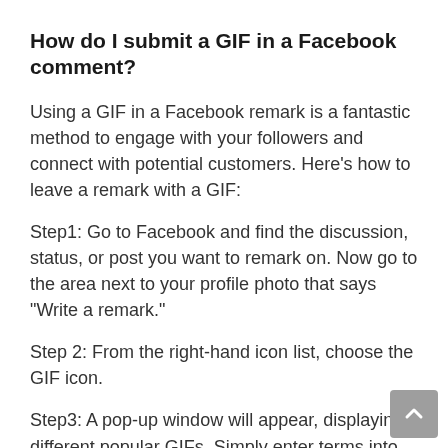How do I submit a GIF in a Facebook comment?
Using a GIF in a Facebook remark is a fantastic method to engage with your followers and connect with potential customers. Here’s how to leave a remark with a GIF:
Step1: Go to Facebook and find the discussion, status, or post you want to remark on. Now go to the area next to your profile photo that says “Write a remark.”
Step 2: From the right-hand icon list, choose the GIF icon.
Step3: A pop-up window will appear, displaying different popular GIFs. Simply enter terms into the search bar to discover related GIFs, then click...